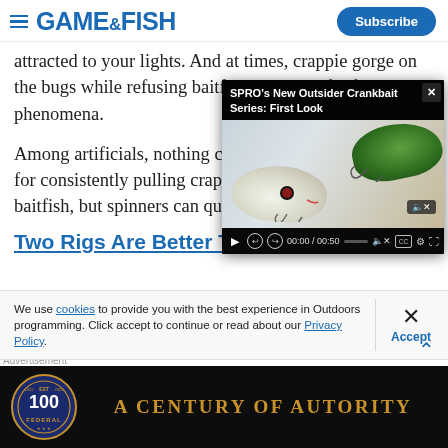GAME&FISH | Subscribe
attracted to your lights. And at times, crappie gorge on the bugs while refusing baitfish. Be watchful for such phenomena.
[Figure (screenshot): Video player overlay showing 'SPRO's New Outsider Crankbait Series: First Look' with crankbait lures visible. Controls show 00:00 / 00:50 timecode. Has close (x) button.]
Among artificials, nothing can really compete with jigs for consistently pulling crappie through schooling baitfish, but spinners can quickly garner a
Two Rigs Are Better Than One
We use cookies to provide you with the best experience in Outdoors programming. Click accept to continue or read about our Privacy Policy.
[Figure (logo): Federal Premium Ammunition advertisement banner. Shows Federal 100 anniversary badge logo on dark background with text 'A CENTURY OF AUTORITY' in gold letters.]